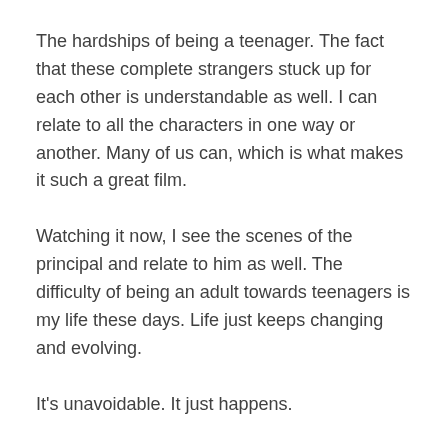The hardships of being a teenager. The fact that these complete strangers stuck up for each other is understandable as well. I can relate to all the characters in one way or another. Many of us can, which is what makes it such a great film.
Watching it now, I see the scenes of the principal and relate to him as well. The difficulty of being an adult towards teenagers is my life these days. Life just keeps changing and evolving.
It's unavoidable. It just happens.